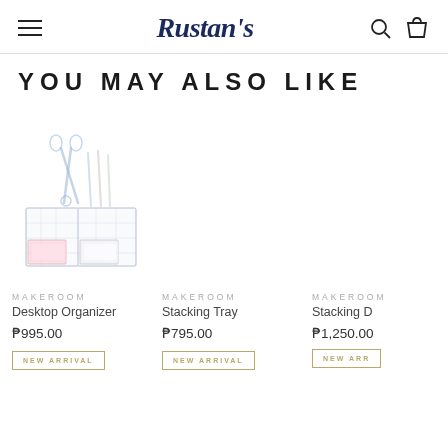Rustan's
YOU MAY ALSO LIKE
[Figure (photo): White mesh desktop organizer with compartments containing scissors, pens, and note pads]
MAKEROOM
Desktop Organizer
₱995.00
NEW ARRIVAL
MAKEROOM
Stacking Tray
₱795.00
NEW ARRIVAL
MAKEROOM
Stacking D...
₱1,250.00
NEW ARRI...